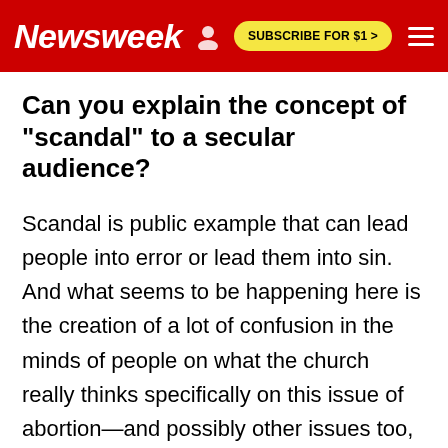Newsweek | SUBSCRIBE FOR $1 >
Can you explain the concept of "scandal" to a secular audience?
Scandal is public example that can lead people into error or lead them into sin. And what seems to be happening here is the creation of a lot of confusion in the minds of people on what the church really thinks specifically on this issue of abortion—and possibly other issues too, but certainly this one. It's such a hotly contested issue in our society and some